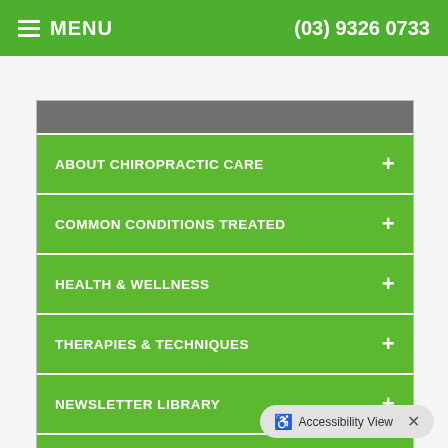MENU  (03) 9326 0733
CATEGORIES
ABOUT CHIROPRACTIC CARE +
COMMON CONDITIONS TREATED +
HEALTH & WELLNESS +
THERAPIES & TECHNIQUES +
NEWSLETTER LIBRARY +
WELLNESS4KIDS
Accessibility View